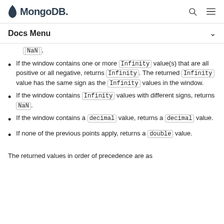MongoDB
Docs Menu
NaN.
If the window contains one or more Infinity value(s) that are all positive or all negative, returns Infinity. The returned Infinity value has the same sign as the Infinity values in the window.
If the window contains Infinity values with different signs, returns NaN.
If the window contains a decimal value, returns a decimal value.
If none of the previous points apply, returns a double value.
The returned values in order of precedence are as